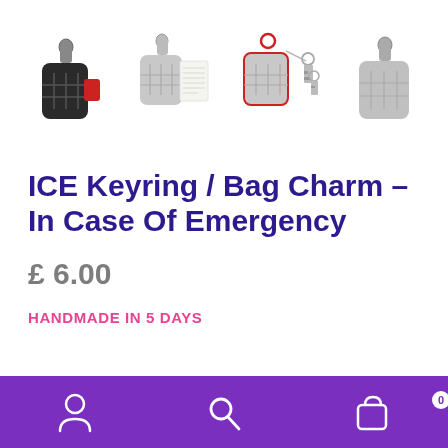[Figure (photo): Four product images of ICE Keyring / Bag Charm displayed in a row: two black/red keyrings, one silver keyring with dimensions diagram, one silver keyring with keys, one silver keyring alone]
ICE Keyring / Bag Charm – In Case Of Emergency
£ 6.00
HANDMADE IN 5 DAYS
[Figure (infographic): Purple navigation bar at bottom with user/account icon, search icon, and shopping bag icon with badge showing 0]